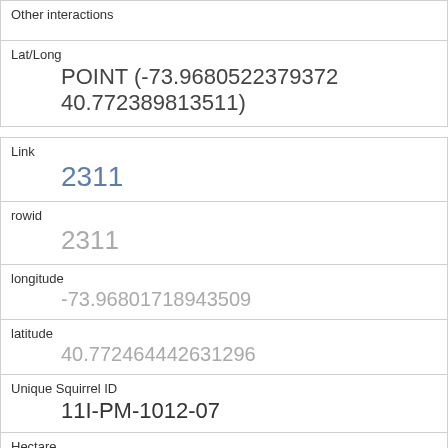Other interactions
Lat/Long
POINT (-73.9680522379372 40.772389813511)
| Field | Value |
| --- | --- |
| Link | 2311 |
| rowid | 2311 |
| longitude | -73.96801718943509 |
| latitude | 40.772464442631296 |
| Unique Squirrel ID | 11I-PM-1012-07 |
| Hectare | 11I |
| Shift | PM |
| Date | 10122018 |